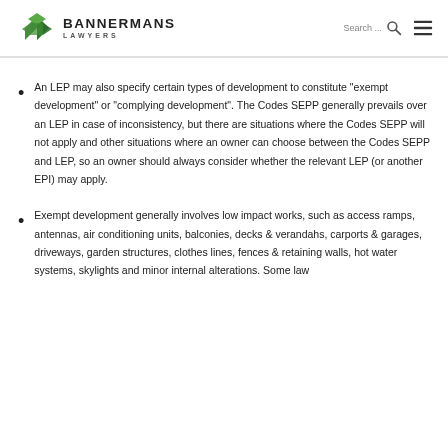BANNERMANS LAWYERS
An LEP may also specify certain types of development to constitute "exempt development" or "complying development". The Codes SEPP generally prevails over an LEP in case of inconsistency, but there are situations where the Codes SEPP will not apply and other situations where an owner can choose between the Codes SEPP and LEP, so an owner should always consider whether the relevant LEP (or another EPI) may apply.
Exempt development generally involves low impact works, such as access ramps, antennas, air conditioning units, balconies, decks & verandahs, carports & garages, driveways, garden structures, clothes lines, fences & retaining walls, hot water systems, skylights and minor internal alterations. Some law...